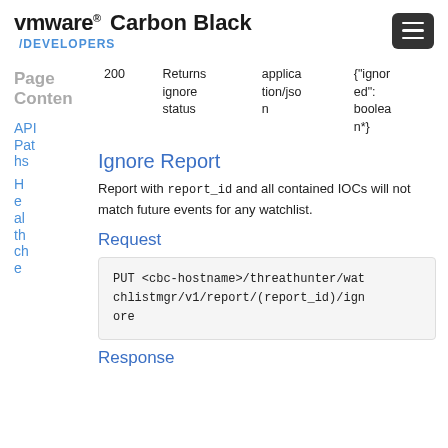VMware Carbon Black /DEVELOPERS
| Code | Description | Content-Type | Example |
| --- | --- | --- | --- |
| 200 | Returns ignore status | application/json | {"ignored": boolean*} |
Ignore Report
Report with report_id and all contained IOCs will not match future events for any watchlist.
Request
PUT <cbc-hostname>/threathunter/watchlistmgr/v1/report/(report_id)/ignore
Response